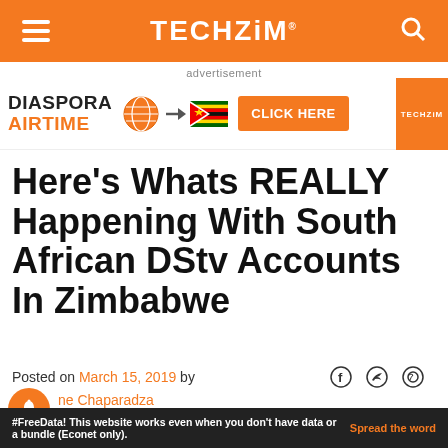TECHZiM
[Figure (infographic): Diaspora Airtime advertisement banner with globe icon, arrow, Zimbabwe flag, CLICK HERE button, and Techzim logo]
Here’s Whats REALLY Happening With South African DStv Accounts In Zimbabwe
Posted on March 15, 2019 by ne Chaparadza
#FreeData! This website works even when you don't have data or a bundle (Econet only). Spread the word